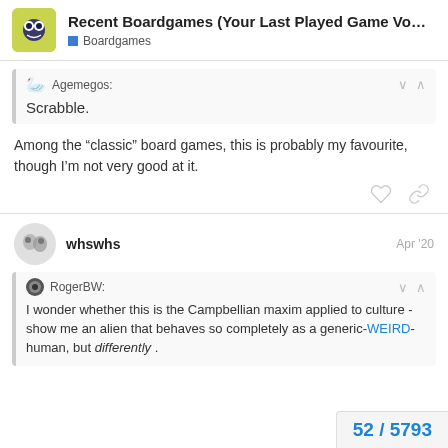Recent Boardgames (Your Last Played Game Vo... | Boardgames
Agemegos: Scrabble.
Among the “classic” board games, this is probably my favourite, though I’m not very good at it.
whswhs  Apr ’20
RogerBW: I wonder whether this is the Campbellian maxim applied to culture - show me an alien that behaves so completely as a generic-WEIRD-human, but differently .
52 / 5793